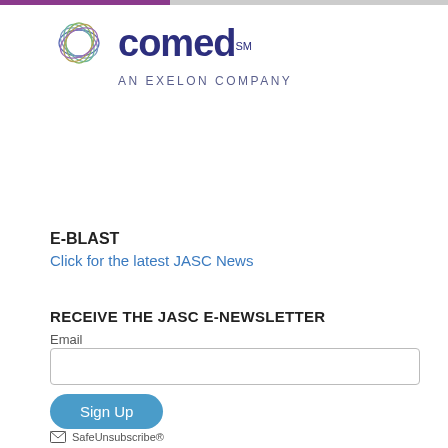[Figure (logo): ComEd logo with swirl graphic and text 'comed SM AN EXELON COMPANY']
E-BLAST
Click for the latest JASC News
RECEIVE THE JASC E-NEWSLETTER
Email
Sign Up
SafeUnsubscribe®